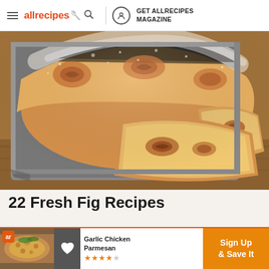allrecipes | GET ALLRECIPES MAGAZINE
[Figure (photo): Close-up photo of a fresh fig cake loaf dusted with powdered sugar in a metal baking pan, with slices cut to reveal the fig-filled interior, on a wooden surface]
22 Fresh Fig Recipes
[Figure (photo): Advertisement banner showing Garlic Chicken Parmesan with star rating, a heart save icon, and an orange Sign Up & Save It button]